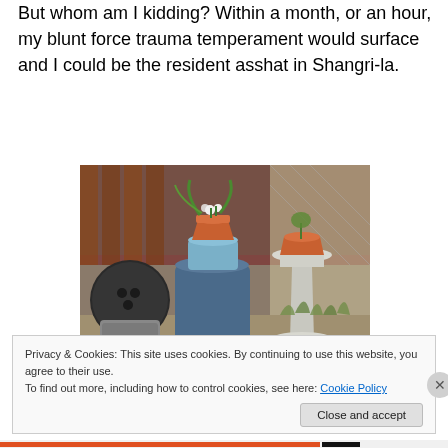But whom am I kidding? Within a month, or an hour, my blunt force trauma temperament would surface and I could be the resident asshat in Shangri-la.
[Figure (photo): Outdoor garden scene with potted plants on top of blue barrel and white pedestal, with wooden fence in background. A terracotta pot with white flowers sits atop a blue cylinder, and another terracotta pot sits on a white birdbath pedestal.]
Privacy & Cookies: This site uses cookies. By continuing to use this website, you agree to their use.
To find out more, including how to control cookies, see here: Cookie Policy